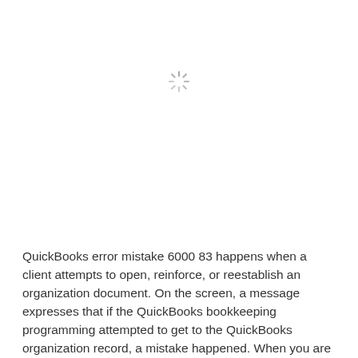[Figure (other): Loading spinner icon — grey asterisk/sunburst spinner symbol centered in upper portion of page]
QuickBooks error mistake 6000 83 happens when a client attempts to open, reinforce, or reestablish an organization document. On the screen, a message expresses that if the QuickBooks bookkeeping programming attempted to get to the QuickBooks organization record, a mistake happened. When you are facing any problem related to the QuickBooks